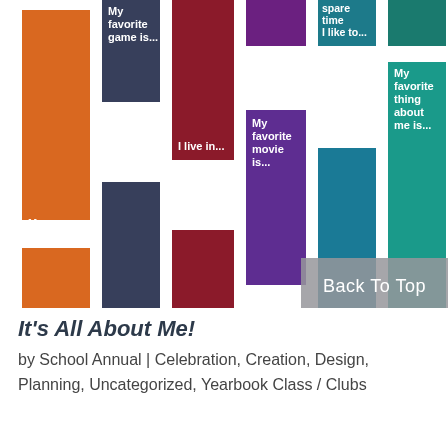[Figure (infographic): Colorful vertical bar columns representing different 'About Me' prompts in orange, dark navy, dark red/maroon, purple, teal/dark cyan, and teal green. Each bar has a label like 'My favorite food is...', 'My favorite game is...', 'I live in...', 'My favorite movie is...', 'spare time I like to...', 'My favorite thing about me is...']
Back To Top
It's All About Me!
by School Annual | Celebration, Creation, Design, Planning, Uncategorized, Yearbook Class / Clubs